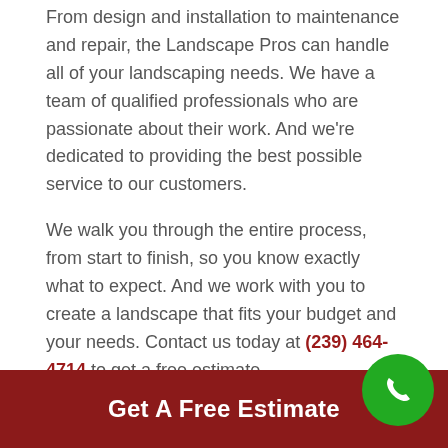From design and installation to maintenance and repair, the Landscape Pros can handle all of your landscaping needs. We have a team of qualified professionals who are passionate about their work. And we're dedicated to providing the best possible service to our customers.
We walk you through the entire process, from start to finish, so you know exactly what to expect. And we work with you to create a landscape that fits your budget and your needs. Contact us today at (239) 464-4714 to get a free estimate.
Get A Free Estimate